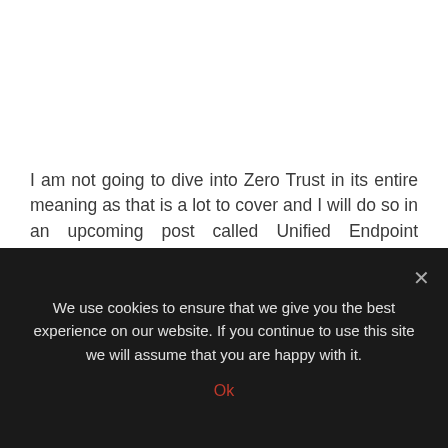I am not going to dive into Zero Trust in its entire meaning as that is a lot to cover and I will do so in an upcoming post called Unified Endpoint Security but for now lets discuss how Zero Trust helps mitigate the web browser security dilemma. As we stand, VDI is no more the sole technology to deliver a digital workplace for many organizations or more
We use cookies to ensure that we give you the best experience on our website. If you continue to use this site we will assume that you are happy with it.
Ok